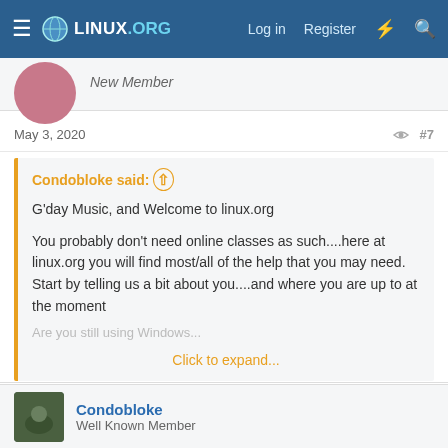LINUX.ORG   Log in   Register
New Member
May 3, 2020   #7
Condobloke said: ⊕

G'day Music, and Welcome to linux.org

You probably don't need online classes as such....here at linux.org you will find most/all of the help that you may need.
Start by telling us a bit about you....and where you are up to at the moment

Are you still using Windows...
Click to expand...
I love this. Well articulated. I rate this at 100%. Thanks for this Pal. And good luck @Music
Condobloke
Well Known Member